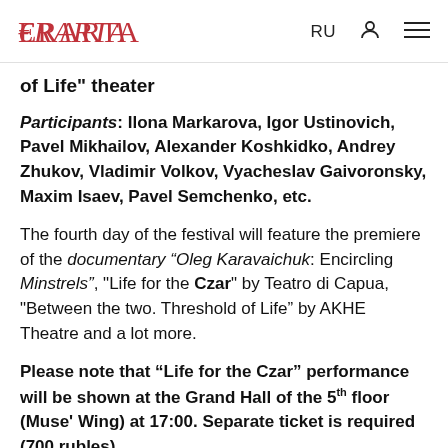ERARTA  RU
of Life" theater
Participants: Ilona Markarova, Igor Ustinovich, Pavel Mikhailov, Alexander Koshkidko, Andrey Zhukov, Vladimir Volkov, Vyacheslav Gaivoronsky, Maxim Isaev, Pavel Semchenko, etc.
The fourth day of the festival will feature the premiere of the documentary “Oleg Karavaichuk: Encircling Minstrels", "Life for the Czar" by Teatro di Capua, "Between the two. Threshold of Life” by AKHE Theatre and a lot more.
Please note that “Life for the Czar” performance will be shown at the Grand Hall of the 5th floor (Museum Wing) at 17:00. Separate ticket is required (700 rubles).